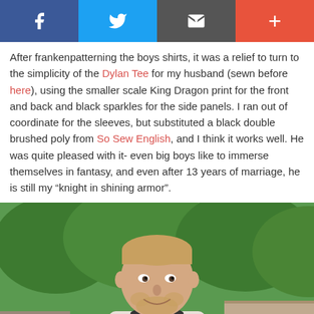[Figure (other): Social media share bar with Facebook (blue), Twitter (light blue), Email (dark gray), and Plus/More (red-orange) buttons]
After frankenpatterning the boys shirts, it was a relief to turn to the simplicity of the Dylan Tee for my husband (sewn before here), using the smaller scale King Dragon print for the front and back and black sparkles for the side panels. I ran out of coordinate for the sleeves, but substituted a black double brushed poly from So Sew English, and I think it works well. He was quite pleased with it- even big boys like to immerse themselves in fantasy, and even after 13 years of marriage, he is still my “knight in shining armor”.
[Figure (photo): Photo of a smiling man with short blond hair and a beard, wearing a patterned tee shirt (white/grey dragon print front with black sleeves), standing outdoors with green trees and stone wall in background]